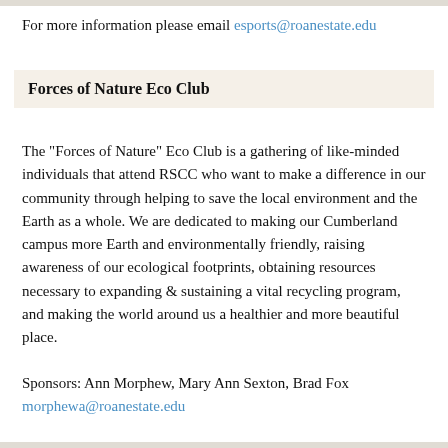For more information please email esports@roanestate.edu
Forces of Nature Eco Club
The "Forces of Nature" Eco Club is a gathering of like-minded individuals that attend RSCC who want to make a difference in our community through helping to save the local environment and the Earth as a whole. We are dedicated to making our Cumberland campus more Earth and environmentally friendly, raising awareness of our ecological footprints, obtaining resources necessary to expanding & sustaining a vital recycling program, and making the world around us a healthier and more beautiful place.
Sponsors: Ann Morphew, Mary Ann Sexton, Brad Fox
morphewa@roanestate.edu